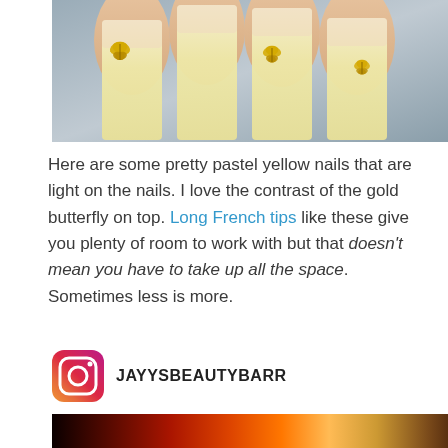[Figure (photo): Close-up photo of long pastel yellow square-tip acrylic nails with small gold butterfly charms on them, held against a gray background.]
Here are some pretty pastel yellow nails that are light on the nails. I love the contrast of the gold butterfly on top. Long French tips like these give you plenty of room to work with but that doesn't mean you have to take up all the space. Sometimes less is more.
[Figure (logo): Instagram logo icon followed by the handle JAYYSBEAUTYBARR in bold uppercase text.]
[Figure (photo): Bottom portion of another nail photo, showing warm orange, red and brown tones, partially cropped.]